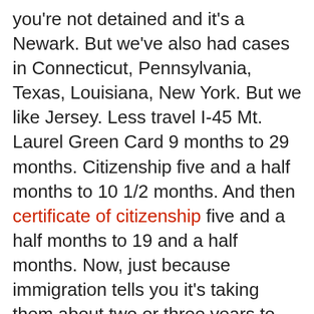you're not detained and it's a Newark. But we've also had cases in Connecticut, Pennsylvania, Texas, Louisiana, New York. But we like Jersey. Less travel I-45 Mt. Laurel Green Card 9 months to 29 months. Citizenship five and a half months to 10 1/2 months. And then certificate of citizenship five and a half months to 19 and a half months. Now, just because immigration tells you it's taking them about two or three years to adjudicate a petition does not mean you should wait that long. That's a big no no. You file for something. Let's say Green Card petition. You were fingerprinted. Your interview at the then after the interview, you don't get a decision. You're waiting 120 days. So four months, still no decision. You can file a complaint, a district court. It's called a Mandamus application. You're essentially saying, listen, government, you're taking an unreasonable amount of time. This is